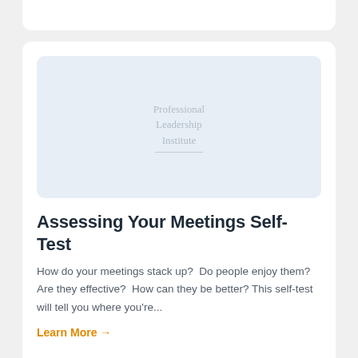[Figure (logo): Light blue rounded rectangle image placeholder with 'Professional Leadership Institute' watermark text and a horizontal divider line centered in the box]
Assessing Your Meetings Self-Test
How do your meetings stack up?  Do people enjoy them?  Are they effective?  How can they be better? This self-test will tell you where you're...
Learn More →